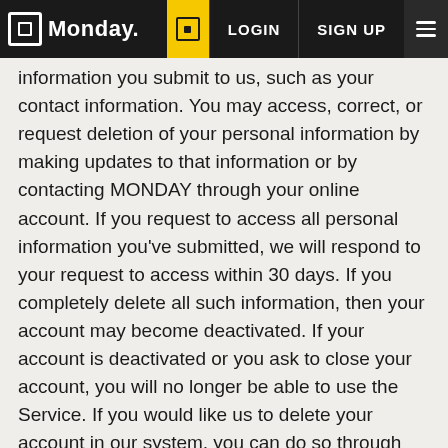Monday. | LOGIN | SIGN UP
information you submit to us, such as your contact information. You may access, correct, or request deletion of your personal information by making updates to that information or by contacting MONDAY through your online account. If you request to access all personal information you’ve submitted, we will respond to your request to access within 30 days. If you completely delete all such information, then your account may become deactivated. If your account is deactivated or you ask to close your account, you will no longer be able to use the Service. If you would like us to delete your account in our system, you can do so through the MONDAY Service (once you logged in, visit settings/ user settings, and then click on the close my account link). We will use commercially reasonable efforts to honor your request; however, certain information will actively persist on the Service even if you close your account, including information in your Work Diaries and messages you posted to the Service. In addition,